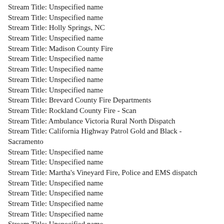Stream Title: Unspecified name
Stream Title: Unspecified name
Stream Title: Holly Springs, NC
Stream Title: Unspecified name
Stream Title: Madison County Fire
Stream Title: Unspecified name
Stream Title: Unspecified name
Stream Title: Unspecified name
Stream Title: Unspecified name
Stream Title: Brevard County Fire Departments
Stream Title: Rockland County Fire - Scan
Stream Title: Ambulance Victoria Rural North Dispatch
Stream Title: California Highway Patrol Gold and Black - Sacramento
Stream Title: Unspecified name
Stream Title: Unspecified name
Stream Title: Martha's Vineyard Fire, Police and EMS dispatch
Stream Title: Unspecified name
Stream Title: Unspecified name
Stream Title: Unspecified name
Stream Title: Unspecified name
Stream Title: Unspecified name
Stream Title: Unspecified name
Stream Title: Unspecified name
Stream Title: Unspecified name